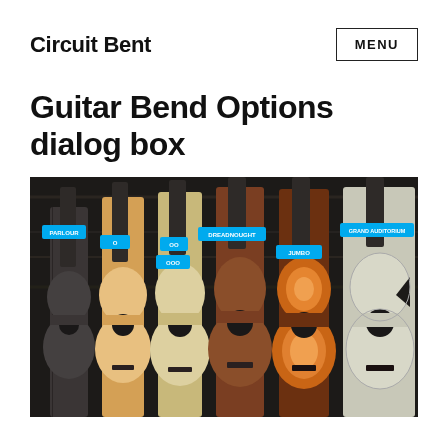Circuit Bent
MENU
Guitar Bend Options dialog box
[Figure (photo): A photo of seven acoustic guitars lined up side by side against a dark wooden background. Each guitar is labeled with a blue tag indicating its body style: PARLOUR, O, OO, OOO, DREADNOUGHT, JUMBO, GRAND AUDITORIUM.]